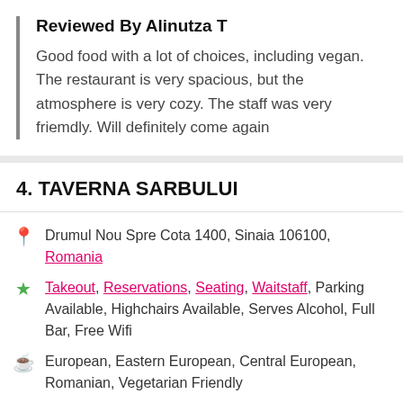Reviewed By Alinutza T
Good food with a lot of choices, including vegan. The restaurant is very spacious, but the atmosphere is very cozy. The staff was very friemdly. Will definitely come again
4. TAVERNA SARBULUI
Drumul Nou Spre Cota 1400, Sinaia 106100, Romania
Takeout, Reservations, Seating, Waitstaff, Parking Available, Highchairs Available, Serves Alcohol, Full Bar, Free Wifi
European, Eastern European, Central European, Romanian, Vegetarian Friendly
Lunch, Dinner, Brunch, Late Night
+40 244 314 400